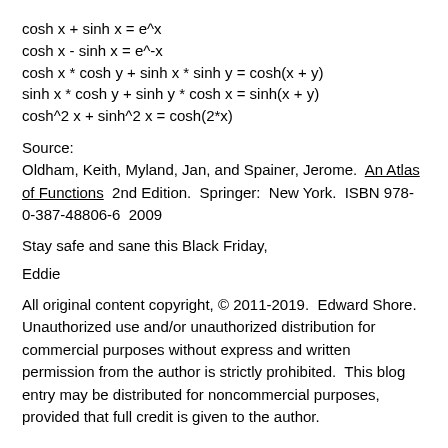Source:
Oldham, Keith, Myland, Jan, and Spainer, Jerome.  An Atlas of Functions  2nd Edition.  Springer:  New York.  ISBN 978-0-387-48806-6  2009
Stay safe and sane this Black Friday,
Eddie
All original content copyright, © 2011-2019.  Edward Shore.  Unauthorized use and/or unauthorized distribution for commercial purposes without express and written permission from the author is strictly prohibited.  This blog entry may be distributed for noncommercial purposes, provided that full credit is given to the author.